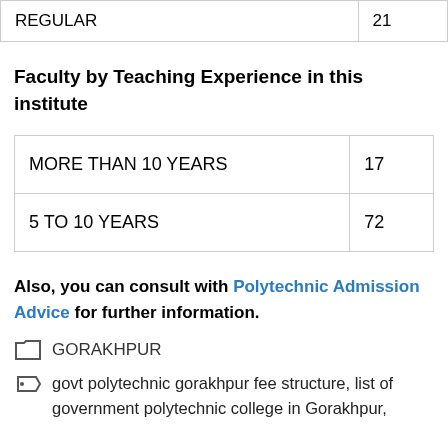| REGULAR | 21 |
Faculty by Teaching Experience in this institute
| MORE THAN 10 YEARS | 17 |
| 5 TO 10 YEARS | 72 |
Also, you can consult with Polytechnic Admission Advice for further information.
GORAKHPUR
govt polytechnic gorakhpur fee structure, list of government polytechnic college in Gorakhpur,